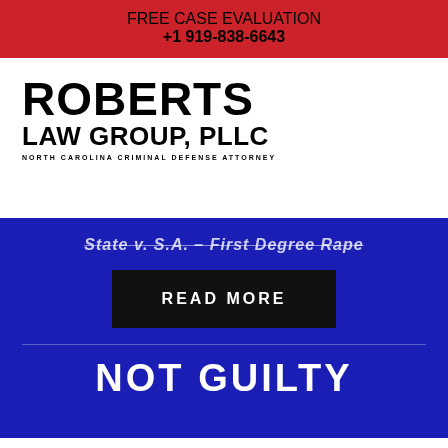FREE CASE EVALUATION
+1 919-838-6643
[Figure (logo): Roberts Law Group, PLLC - North Carolina Criminal Defense Attorney logo]
State v. S.A. – First Degree Rape
READ MORE
NOT GUILTY